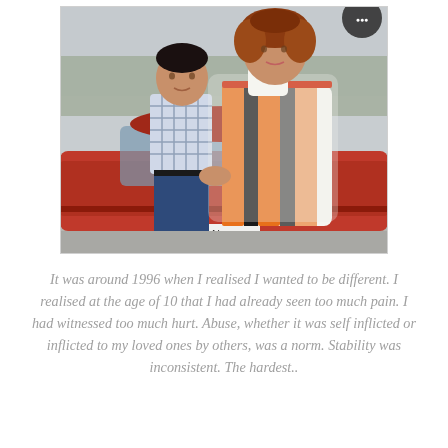[Figure (photo): A vintage photograph of a young boy in a checkered shirt and blue jeans standing next to a woman wearing a colorful orange, black and white traditional garment. They are standing in front of a red car in a parking lot. A small circular logo/badge is visible in the top right corner of the image.]
It was around 1996 when I realised I wanted to be different. I realised at the age of 10 that I had already seen too much pain. I had witnessed too much hurt. Abuse, whether it was self inflicted or inflicted to my loved ones by others, was a norm. Stability was inconsistent. The hardest..